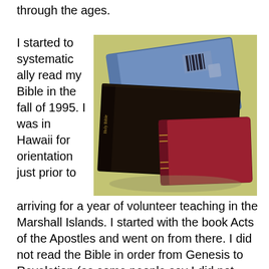through the ages.
I started to systematically read my Bible in the fall of 1995. I was in Hawaii for orientation just prior to
[Figure (photo): Three Bibles stacked on a green cloth surface: a blue hardcover Bible on top, a large black leather Bible in the middle, and a smaller red/burgundy leather Bible in front.]
arriving for a year of volunteer teaching in the Marshall Islands. I started with the book Acts of the Apostles and went on from there. I did not read the Bible in order from Genesis to Revelation (as some people say I did not really complete goal #1), but I wrote the list and I know